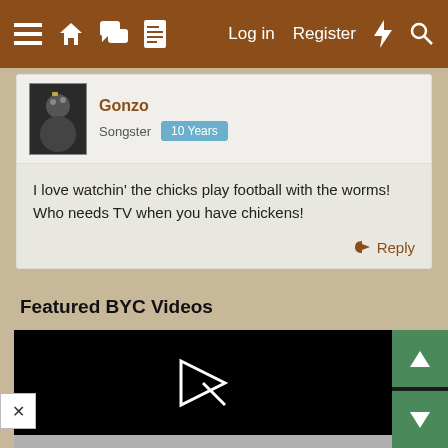≡ 🏠 💬 📄   Log in   Register  ⚡  🔍
Gonzo
Songster  10 Years
I love watchin' the chicks play football with the worms! Who needs TV when you have chickens!
Reply
Featured BYC Videos
[Figure (screenshot): Video player showing error: 'The video cannot be played in this browser. (Error Code: 242632)']